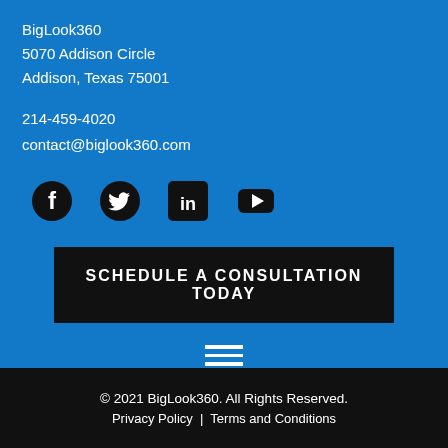BigLook360
5070 Addison Circle
Addison, Texas 75001
214-459-4020
contact@biglook360.com
[Figure (infographic): Social media icons: Facebook, Twitter, LinkedIn, YouTube]
SCHEDULE A CONSULTATION TODAY
[Figure (infographic): Hamburger menu icon with three horizontal lines]
© 2021 BigLook360. All Rights Reserved.
Privacy Policy  |  Terms and Conditions